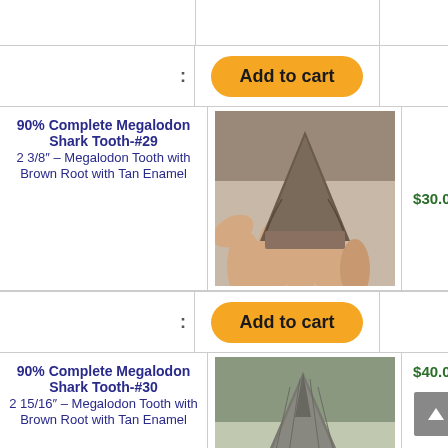[Figure (other): Top partial row with borders, cut off at top]
Add to cart
90% Complete Megalodon Shark Tooth-#29
2 3/8″ – Megalodon Tooth with Brown Root with Tan Enamel
[Figure (photo): Photo of a megalodon shark tooth held in a hand, brown root with tan enamel, triangular shape]
$30.00
Add to cart
90% Complete Megalodon Shark Tooth-#30
2 15/16″ – Megalodon Tooth with Brown Root with Tan Enamel
[Figure (photo): Photo of a megalodon shark tooth held in a hand, brown root with tan enamel, slightly larger than tooth #29]
$40.00